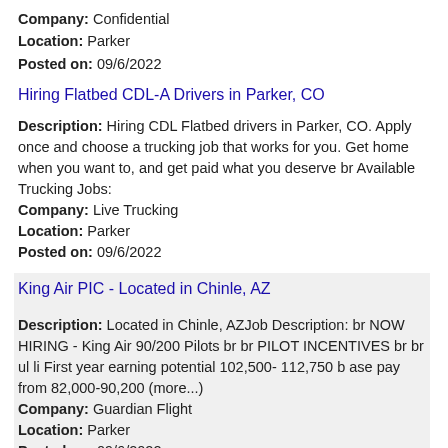Company: Confidential
Location: Parker
Posted on: 09/6/2022
Hiring Flatbed CDL-A Drivers in Parker, CO
Description: Hiring CDL Flatbed drivers in Parker, CO. Apply once and choose a trucking job that works for you. Get home when you want to, and get paid what you deserve br Available Trucking Jobs:
Company: Live Trucking
Location: Parker
Posted on: 09/6/2022
King Air PIC - Located in Chinle, AZ
Description: Located in Chinle, AZJob Description: br NOW HIRING - King Air 90/200 Pilots br br PILOT INCENTIVES br br ul li First year earning potential 102,500- 112,750 b ase pay from 82,000-90,200 (more...)
Company: Guardian Flight
Location: Parker
Posted on: 09/6/2022
Salary in Broomfield, Colorado Area | More details for Broomfield, Colorado Jobs |Salary